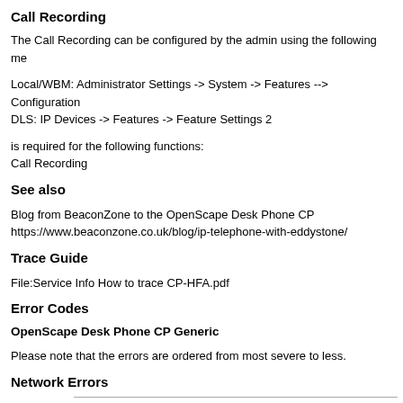Call Recording
The Call Recording can be configured by the admin using the following me
Local/WBM: Administrator Settings -> System -> Features --> Configuration
DLS: IP Devices -> Features -> Feature Settings 2
is required for the following functions:
Call Recording
See also
Blog from BeaconZone to the OpenScape Desk Phone CP
https://www.beaconzone.co.uk/blog/ip-telephone-with-eddystone/
Trace Guide
File:Service Info How to trace CP-HFA.pdf
Error Codes
OpenScape Desk Phone CP Generic
Please note that the errors are ordered from most severe to less.
Network Errors